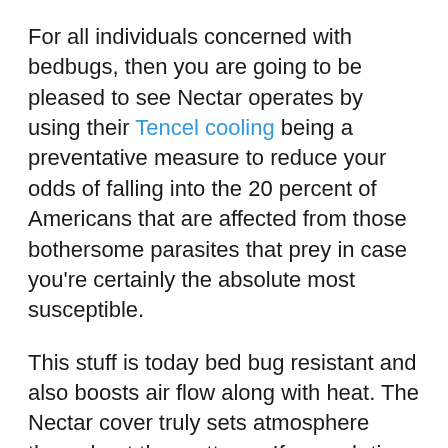For all individuals concerned with bedbugs, then you are going to be pleased to see Nectar operates by using their Tencel cooling being a preventative measure to reduce your odds of falling into the 20 percent of Americans that are affected from those bothersome parasites that prey in case you're certainly the absolute most susceptible.
This stuff is today bed bug resistant and also boosts air flow along with heat. The Nectar cover truly sets atmosphere throughout the mattress. If enough time arrives that you simply demand a first pay, you merely to phone, and they're likely to send you brand new cover free from price.